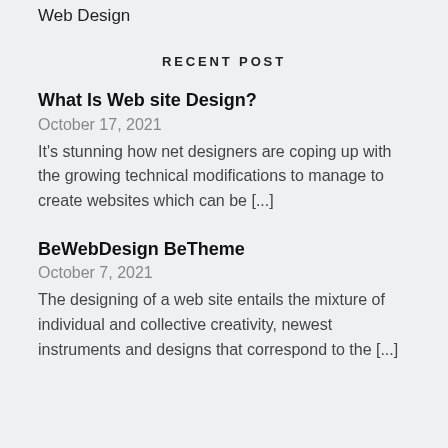Web Design
RECENT POST
What Is Web site Design?
October 17, 2021
It's stunning how net designers are coping up with the growing technical modifications to manage to create websites which can be [...]
BeWebDesign BeTheme
October 7, 2021
The designing of a web site entails the mixture of individual and collective creativity, newest instruments and designs that correspond to the [...]